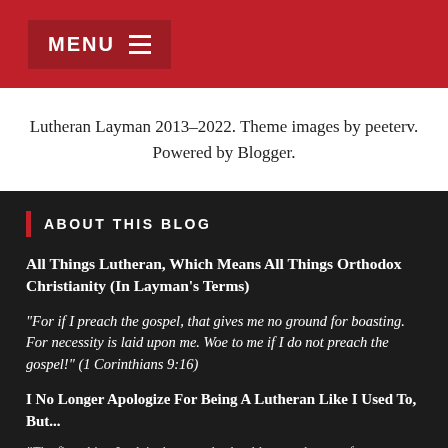MENU ≡
Lutheran Layman 2013-2022. Theme images by peeterv. Powered by Blogger.
ABOUT THIS BLOG
All Things Lutheran, Which Means All Things Orthodox Christianity (In Layman's Terms)
"For if I preach the gospel, that gives me no ground for boasting. For necessity is laid upon me. Woe to me if I do not preach the gospel!" (1 Corinthians 9:16)
I No Longer Apologize For Being A Lutheran Like I Used To, But...
"The first thing I ask is that people should not make use of my name, and